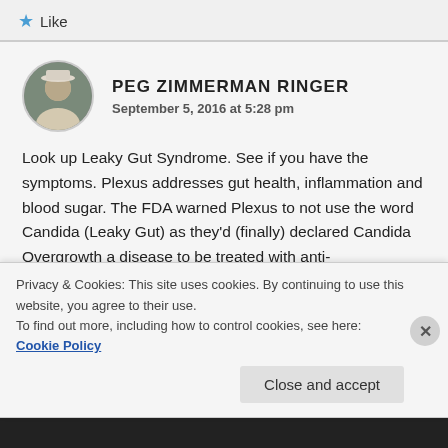★ Like
PEG ZIMMERMAN RINGER
September 5, 2016 at 5:28 pm
Look up Leaky Gut Syndrome. See if you have the symptoms. Plexus addresses gut health, inflammation and blood sugar. The FDA warned Plexus to not use the word Candida (Leaky Gut) as they'd (finally) declared Candida Overgrowth a disease to be treated with anti-fungals....because the FDA is in bed with Big Pharma, and Plexus is a THREAT to Big Pharma. That
Privacy & Cookies: This site uses cookies. By continuing to use this website, you agree to their use.
To find out more, including how to control cookies, see here: Cookie Policy
Close and accept